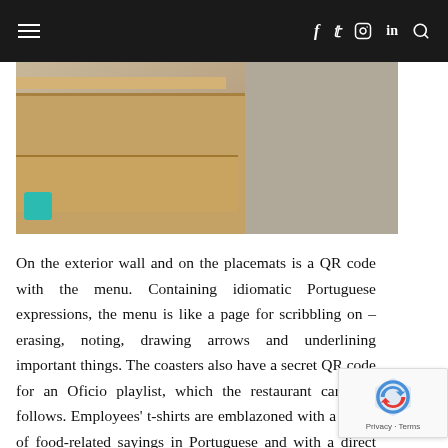≡   f  tw  ○  in  🔍
[Figure (photo): Interior photo of a restaurant or cafe showing wooden furniture, shelving, a teal stool, and a textured stone/plaster wall on the right side]
On the exterior wall and on the placemats is a QR code with the menu. Containing idiomatic Portuguese expressions, the menu is like a page for scribbling on – erasing, noting, drawing arrows and underlining important things. The coasters also have a secret QR code for an Oficio playlist, which the restaurant carefully follows. Employees' t-shirts are emblazoned with a series of food-related sayings in Portuguese and with a direct translation: De pequenino se torce o pepino (From Little you twist the